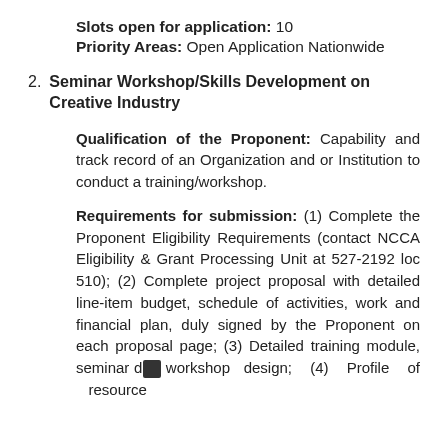Slots open for application: 10
Priority Areas: Open Application Nationwide
2. Seminar Workshop/Skills Development on Creative Industry
Qualification of the Proponent: Capability and track record of an Organization and or Institution to conduct a training/workshop.
Requirements for submission: (1) Complete the Proponent Eligibility Requirements (contact NCCA Eligibility & Grant Processing Unit at 527-2192 loc 510); (2) Complete project proposal with detailed line-item budget, schedule of activities, work and financial plan, duly signed by the Proponent on each proposal page; (3) Detailed training module, seminar design; (4) Profile of resource